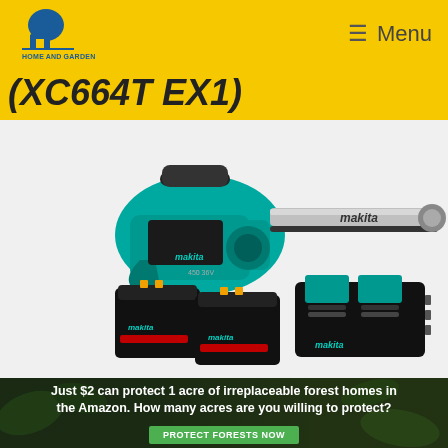Home and Garden — Menu
(XC664T EX1)
[Figure (photo): Makita branded cordless chainsaw kit (XC664T EX1) shown with the chainsaw body in teal/turquoise color, guide bar, two 18V battery packs, and a dual-port battery charger]
[Figure (photo): Rainforest/Amazon conservation advertisement banner — dark background with foliage. Text: Just $2 can protect 1 acre of irreplaceable forest homes in the Amazon. How many acres are you willing to protect? Button: PROTECT FORESTS NOW]